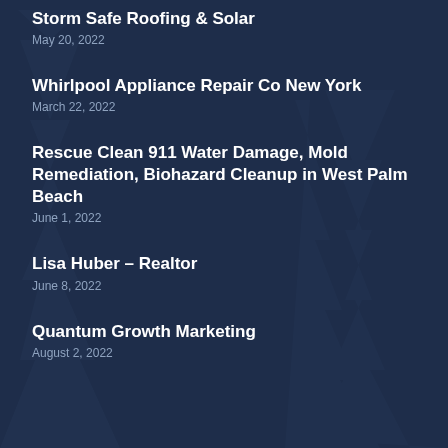Storm Safe Roofing & Solar
May 20, 2022
Whirlpool Appliance Repair Co New York
March 22, 2022
Rescue Clean 911 Water Damage, Mold Remediation, Biohazard Cleanup in West Palm Beach
June 1, 2022
Lisa Huber – Realtor
June 8, 2022
Quantum Growth Marketing
August 2, 2022